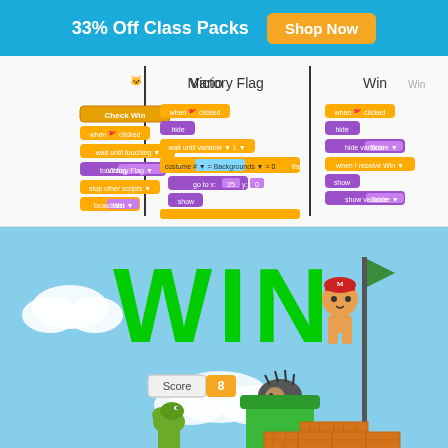33% Off Class Packs  Shop Now
[Figure (screenshot): Scratch programming interface showing three sprite panels: Mario, Victory Flag, and Win — with orange and purple code blocks for a Mario-style game]
[Figure (screenshot): Game result screen showing 'WIN' in large green text, a Score badge showing 8, a cat sprite with red cap near a green flag, a hedgehog on a green pipe, and brick stair blocks on a light blue sky background]